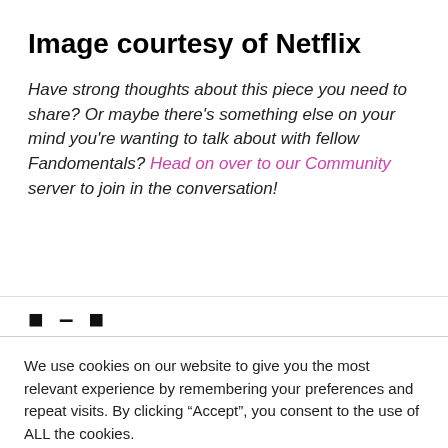Image courtesy of Netflix
Have strong thoughts about this piece you need to share? Or maybe there's something else on your mind you're wanting to talk about with fellow Fandomentals? Head on over to our Community server to join in the conversation!
We use cookies on our website to give you the most relevant experience by remembering your preferences and repeat visits. By clicking “Accept”, you consent to the use of ALL the cookies.
Do not sell my personal information.